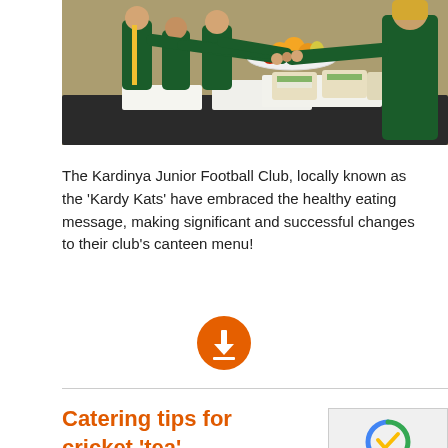[Figure (photo): Children in green and yellow sports uniforms reaching for a plate of fruit held by an adult in a green shirt, at a table with sandwiches, inside a school or club building.]
The Kardinya Junior Football Club, locally known as the 'Kardy Kats' have embraced the healthy eating message, making significant and successful changes to their club's canteen menu!
[Figure (other): Orange circular download button with white downward arrow and line icon.]
Catering tips for cricket 'tea'